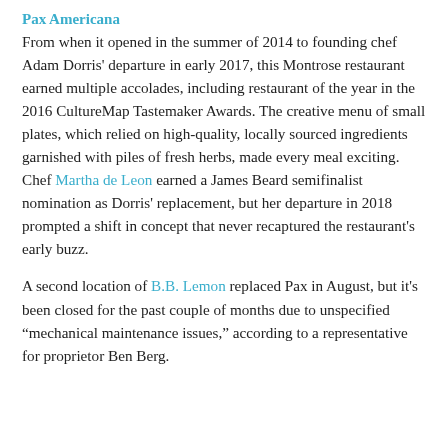Pax Americana
From when it opened in the summer of 2014 to founding chef Adam Dorris' departure in early 2017, this Montrose restaurant earned multiple accolades, including restaurant of the year in the 2016 CultureMap Tastemaker Awards. The creative menu of small plates, which relied on high-quality, locally sourced ingredients garnished with piles of fresh herbs, made every meal exciting. Chef Martha de Leon earned a James Beard semifinalist nomination as Dorris' replacement, but her departure in 2018 prompted a shift in concept that never recaptured the restaurant's early buzz.
A second location of B.B. Lemon replaced Pax in August, but it's been closed for the past couple of months due to unspecified “mechanical maintenance issues,” according to a representative for proprietor Ben Berg.